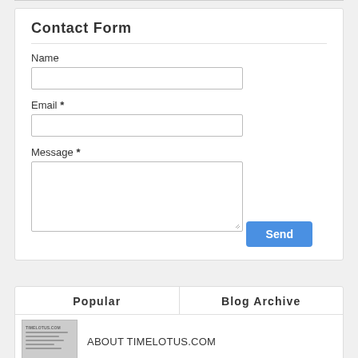Contact Form
Name
Email *
Message *
Send
Popular
Blog Archive
ABOUT TIMELOTUS.COM